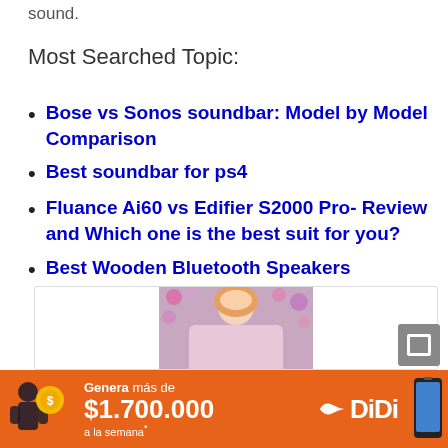sound.
Most Searched Topic:
Bose vs Sonos soundbar: Model by Model Comparison
Best soundbar for ps4
Fluance Ai60 vs Edifier S2000 Pro- Review and Which one is the best suit for you?
Best Wooden Bluetooth Speakers
[Figure (photo): Photo of a person wearing hijab standing in front of a floral backdrop]
[Figure (infographic): DiDi advertisement banner: Genera más de $1,700,000 a la semana*]